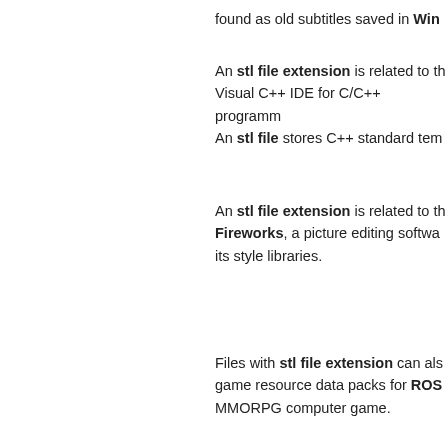found as old subtitles saved in Win...
An stl file extension is related to the Visual C++ IDE for C/C++ programm... An stl file stores C++ standard tem...
An stl file extension is related to th... Fireworks, a picture editing softwa... its style libraries.
Files with stl file extension can als... game resource data packs for ROS... MMORPG computer game.
Back to conversion search
1 Comment  File-Extensions...
♡ Favorite    Tweet    Sh...